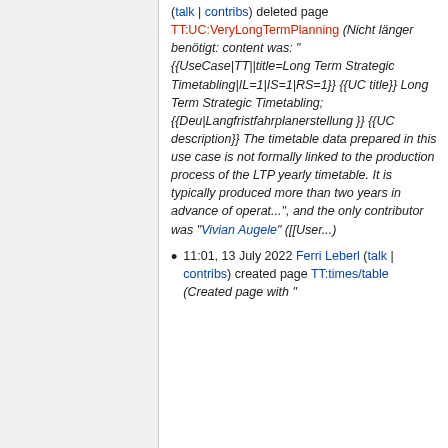(talk | contribs) deleted page TT:UC:VeryLongTermPlanning (Nicht länger benötigt: content was: "{{UseCase|TT||title=Long Term Strategic Timetabling|IL=1|IS=1|RS=1}} {{UC title}} Long Term Strategic Timetabling; {{Deu|Langfristfahrplanerstellung }} {{UC description}} The timetable data prepared in this use case is not formally linked to the production process of the LTP yearly timetable. It is typically produced more than two years in advance of operat...", and the only contributor was "Vivian Augele" ([[User...)
11:01, 13 July 2022 Ferri Leberl (talk | contribs) created page TT:times/table (Created page with "